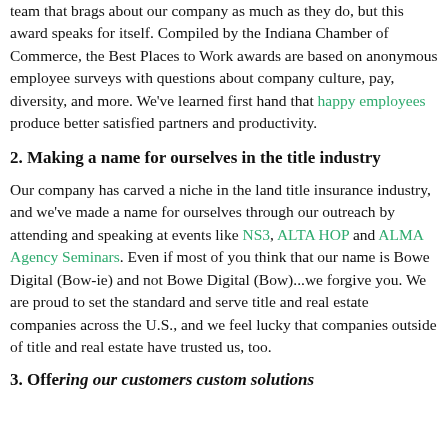team that brags about our company as much as they do, but this award speaks for itself. Compiled by the Indiana Chamber of Commerce, the Best Places to Work awards are based on anonymous employee surveys with questions about company culture, pay, diversity, and more. We've learned first hand that happy employees produce better satisfied partners and productivity.
2. Making a name for ourselves in the title industry
Our company has carved a niche in the land title insurance industry, and we've made a name for ourselves through our outreach by attending and speaking at events like NS3, ALTA HOP and ALMA Agency Seminars. Even if most of you think that our name is Bowe Digital (Bow-ie) and not Bowe Digital (Bow)...we forgive you. We are proud to set the standard and serve title and real estate companies across the U.S., and we feel lucky that companies outside of title and real estate have trusted us, too.
3. Offering our customers custom solutions